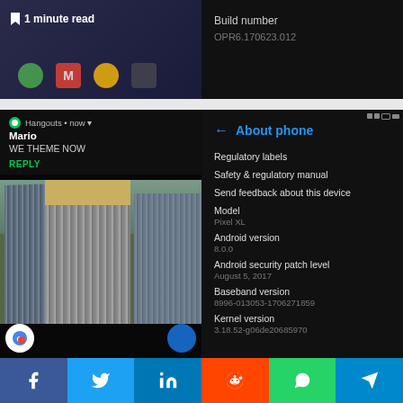[Figure (screenshot): Top left: Android home screen with app icons (Phone, Gmail, Chrome) and '1 minute read' bookmark label overlay]
[Figure (screenshot): Top right: Android 'About phone' screen showing Build number: OPR6.170623.012]
[Figure (screenshot): Left panel: Hangouts notification from Mario saying 'WE THEME NOW' with REPLY button, and Google Maps 3D aerial view of skyscraper]
[Figure (screenshot): Right panel: Android 'About phone' settings screen showing: Regulatory labels, Safety & regulatory manual, Send feedback about this device, Model: Pixel XL, Android version: 8.0.0, Android security patch level: August 5 2017, Baseband version: 8996-013053-1706271859, Kernel version: 3.18.52-g06de20685970]
[Figure (screenshot): Share bar at bottom with Facebook, Twitter, LinkedIn, Reddit, WhatsApp, Telegram buttons]